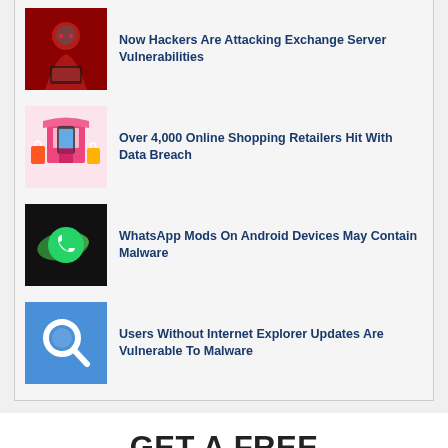Now Hackers Are Attacking Exchange Server Vulnerabilities
Over 4,000 Online Shopping Retailers Hit With Data Breach
WhatsApp Mods On Android Devices May Contain Malware
Users Without Internet Explorer Updates Are Vulnerable To Malware
GET A FREE CONSULTATION
Fill out the form below to get a free consultation and find out how we can make your technology hassle-free!